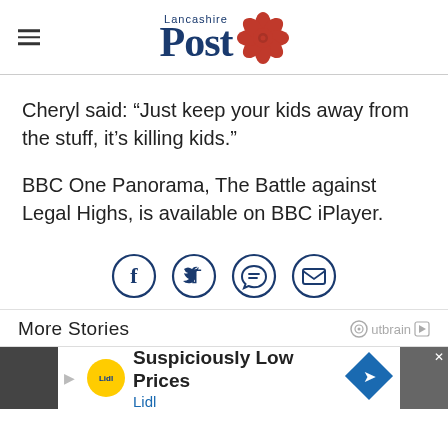Lancashire Post
Cheryl said: “Just keep your kids away from the stuff, it’s killing kids.”
BBC One Panorama, The Battle against Legal Highs, is available on BBC iPlayer.
[Figure (other): Social sharing icons: Facebook, Twitter, WhatsApp, Email]
More Stories
[Figure (other): Advertisement banner: Lidl - Suspiciously Low Prices]